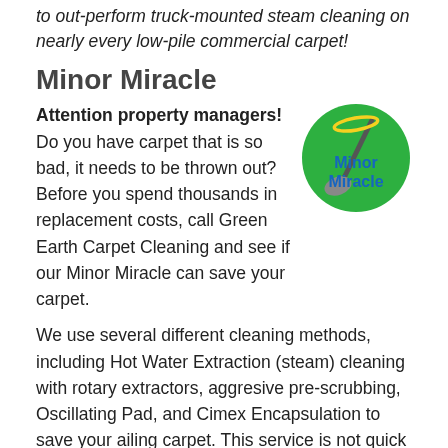to out-perform truck-mounted steam cleaning on nearly every low-pile commercial carpet!
Minor Miracle
Attention property managers! Do you have carpet that is so bad, it needs to be thrown out? Before you spend thousands in replacement costs, call Green Earth Carpet Cleaning and see if our Minor Miracle can save your carpet.
[Figure (logo): Green circular logo with broom illustration and 'Minor Miracle' text in yellow and blue]
We use several different cleaning methods, including Hot Water Extraction (steam) cleaning with rotary extractors, aggresive pre-scrubbing, Oscillating Pad, and Cimex Encapsulation to save your ailing carpet. This service is not quick or cheap, but it will save you the cost of immediate replacement.